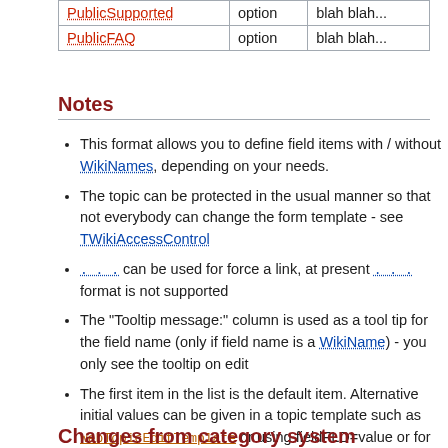| Name | Type | Description |
| --- | --- | --- |
| PublicSupported | option | blah blah... |
| PublicFAQ | option | blah blah... |
Notes
This format allows you to define field items with / without WikiNames, depending on your needs.
The topic can be protected in the usual manner so that not everybody can change the form template - see TWikiAccessControl
... can be used for force a link, at present ... format is not supported
The "Tooltip message:" column is used as a tool tip for the field name (only if field name is a WikiName) - you only see the tooltip on edit
The first item in the list is the default item. Alternative initial values can be given in a topic template such as WebTopicEditTemplate or using fieldFLD=value or for checkboxes fieldFLDcheckbox=1 in URL
The topic definition is not read when a topic is viewed
Changes from category system